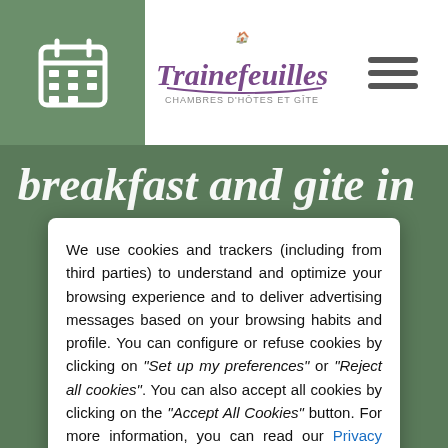[Figure (screenshot): Website header with calendar icon on green background, Trainefeuilles logo (chambres d'hôtes et gîte) in center, hamburger menu icon on right]
breakfast and gite in
We use cookies and trackers (including from third parties) to understand and optimize your browsing experience and to deliver advertising messages based on your browsing habits and profile. You can configure or refuse cookies by clicking on "Set up my preferences" or "Reject all cookies". You can also accept all cookies by clicking on the "Accept All Cookies" button. For more information, you can read our Privacy Policy.
Reject all cookies
Set up my preferences
Accept all cookies
26/08/2022  28/08/2022